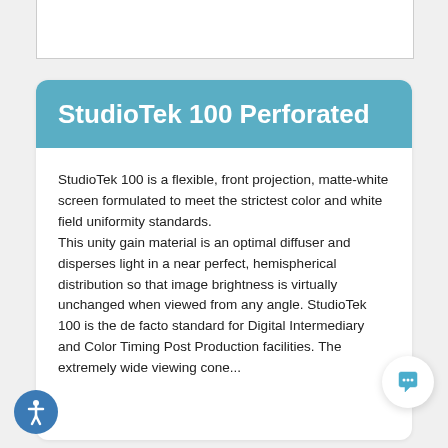StudioTek 100 Perforated
StudioTek 100 is a flexible, front projection, matte-white screen formulated to meet the strictest color and white field uniformity standards.
This unity gain material is an optimal diffuser and disperses light in a near perfect, hemispherical distribution so that image brightness is virtually unchanged when viewed from any angle. StudioTek 100 is the de facto standard for Digital Intermediary and Color Timing Post Production facilities. The extremely wide viewing cone...